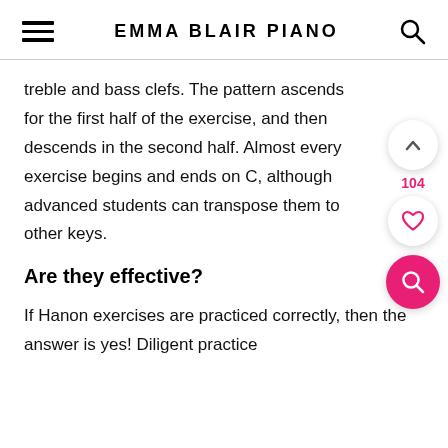EMMA BLAIR PIANO
treble and bass clefs. The pattern ascends for the first half of the exercise, and then descends in the second half. Almost every exercise begins and ends on C, although advanced students can transpose them to other keys.
Are they effective?
If Hanon exercises are practiced correctly, then the answer is yes! Diligent practice